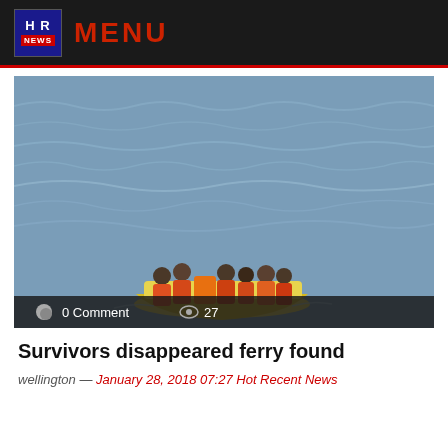HR NEWS MENU
[Figure (photo): Survivors in a yellow lifeboat on open ocean water, people wearing orange life vests]
0 Comment   27
Survivors disappeared ferry found
wellington — January 28, 2018 07:27 Hot Recent News